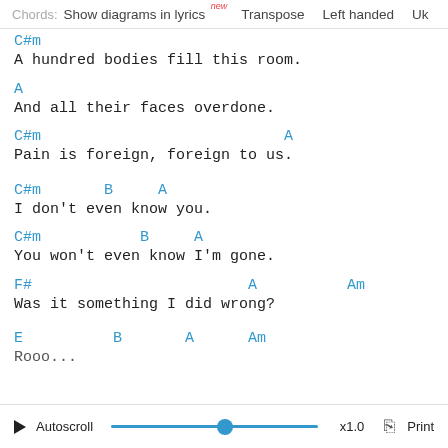Chords: Show diagrams in lyrics new  Transpose  Left handed  Uk
C#m
A hundred bodies fill this room.
A
And all their faces overdone.
C#m                           A
Pain is foreign, foreign to us.
C#m       B     A
I don't even know you.
C#m           B     A
You won't even know I'm gone.
F#                        A          Am
Was it something I did wrong?
E          B       A      Am
Rooo...
Autoscroll  x1.0  Print